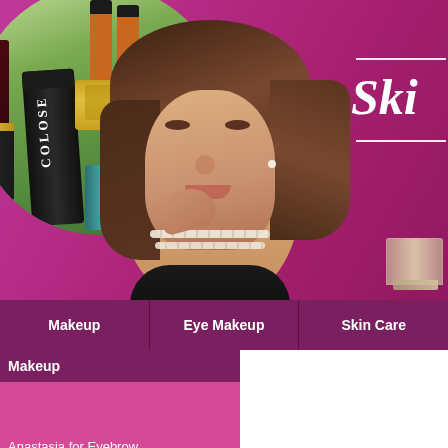[Figure (photo): Beauty/cosmetics website hero banner. Left side shows a circular collage of makeup products including a dark lipstick, Colose-branded tube, orange/gold skincare bottles, and a teal nail polish bottle on a green background. Center shows a portrait of an elegant woman with brown layered hair, pearl necklace, resting chin on hand. Upper right shows partial italic white text 'Ski...' with horizontal white lines above and below on a magenta/pink background. Lower right has a perfume bottle.]
Makeup
Eye Makeup
Skin Care
Makeup
Anastasia for Eyebrow